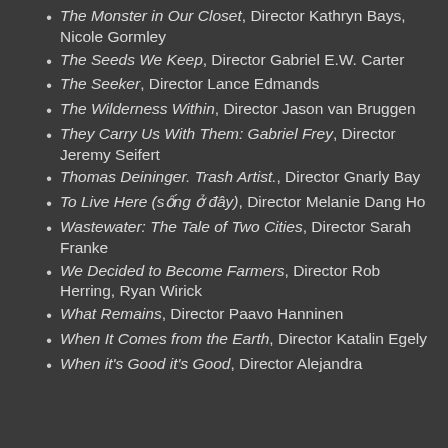The Monster in Our Closet, Director Kathryn Bays, Nicole Gormley
The Seeds We Keep, Director Gabriel E.W. Carter
The Seeker, Director Lance Edmands
The Wilderness Within, Director Jason van Bruggen
They Carry Us With Them: Gabriel Frey, Director Jeremy Seifert
Thomas Deininger. Trash Artist., Director Gnarly Bay
To Live Here (sống ở đây), Director Melanie Dang Ho
Wastewater: The Tale of Two Cities, Director Sarah Franke
We Decided to Become Farmers, Director Rob Herring, Ryan Wirick
What Remains, Director Paavo Hanninen
When It Comes from the Earth, Director Katalin Egely
When it's Good it's Good, Director Alejandra